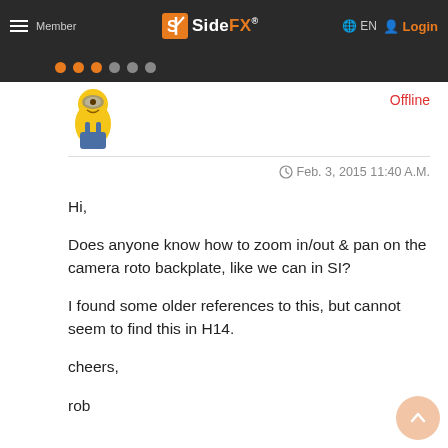Member  SideFX  EN  Login
Offline
Feb. 3, 2015 11:40 A.M.
Hi,

Does anyone know how to zoom in/out & pan on the camera roto backplate, like we can in SI?

I found some older references to this, but cannot seem to find this in H14.

cheers,

rob

p.s. The Auto-commit preference for keying is evil!!! : )